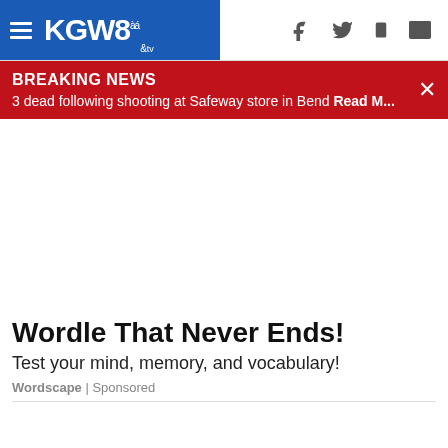KGW8
BREAKING NEWS
3 dead following shooting at Safeway store in Bend Read M...
[Figure (other): Empty white advertisement space]
Wordle That Never Ends!
Test your mind, memory, and vocabulary!
Wordscape | Sponsored